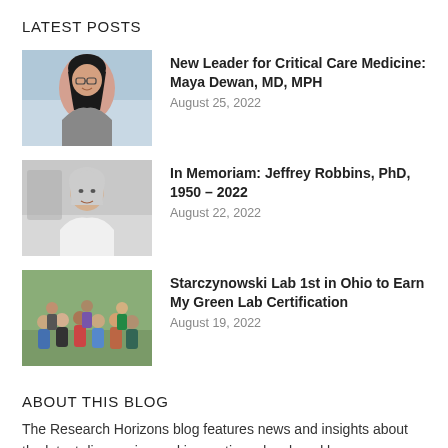LATEST POSTS
[Figure (photo): Portrait photo of a woman with dark hair and glasses, smiling, in a medical/office setting]
New Leader for Critical Care Medicine: Maya Dewan, MD, MPH
August 25, 2022
[Figure (photo): Portrait photo of an older man in a white lab coat, smiling, in a lab/office setting]
In Memoriam: Jeffrey Robbins, PhD, 1950 – 2022
August 22, 2022
[Figure (photo): Group photo of lab members standing outside in front of greenery]
Starczynowski Lab 1st in Ohio to Earn My Green Lab Certification
August 19, 2022
ABOUT THIS BLOG
The Research Horizons blog features news and insights about the latest discoveries and innovations developed by